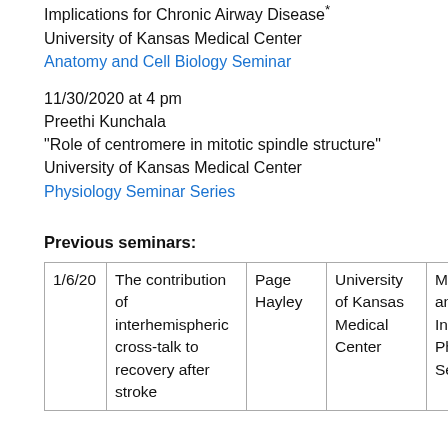Implications for Chronic Airway Disease*
University of Kansas Medical Center
Anatomy and Cell Biology Seminar
11/30/2020 at 4 pm
Preethi Kunchala
"Role of centromere in mitotic spindle structure"
University of Kansas Medical Center
Physiology Seminar Series
Previous seminars:
| Date | Title | Speaker | Institution | Series |
| --- | --- | --- | --- | --- |
| 1/6/20 | The contribution of interhemispheric cross-talk to recovery after stroke | Page Hayley | University of Kansas Medical Center | Mol... and Inte... Phy... Sen... |